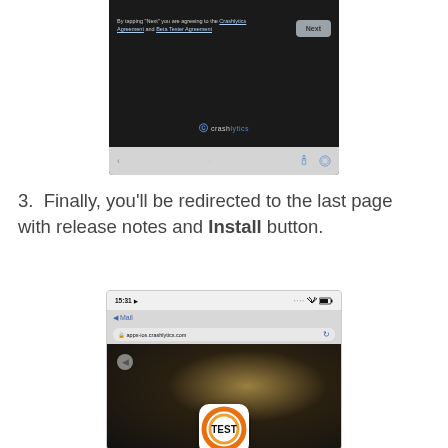[Figure (screenshot): Mobile browser screenshot showing Crashlytics agreement page with 'Next' button and browser navigation bar]
3. Finally, you'll be redirected to the last page with release notes and Install button.
[Figure (screenshot): iPhone browser screenshot showing apps-ios.crashlytics.com with TEST app icon on dark background]